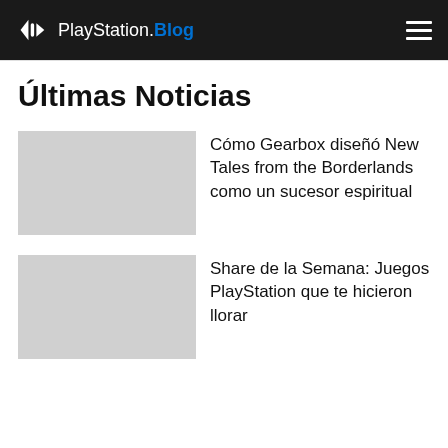PlayStation.Blog
Últimas Noticias
Cómo Gearbox diseñó New Tales from the Borderlands como un sucesor espiritual
Share de la Semana: Juegos PlayStation que te hicieron llorar